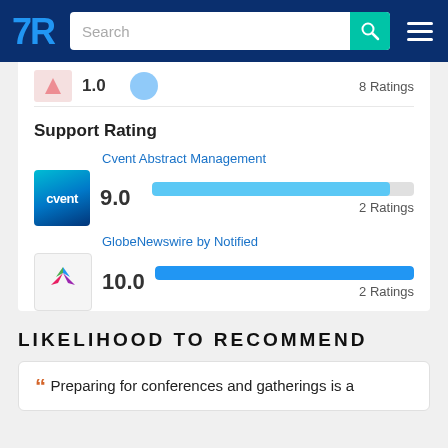TrustRadius – Search bar navigation
1.0  8 Ratings
Support Rating
Cvent Abstract Management 9.0 2 Ratings
GlobeNewswire by Notified 10.0 2 Ratings
LIKELIHOOD TO RECOMMEND
Preparing for conferences and gatherings is a